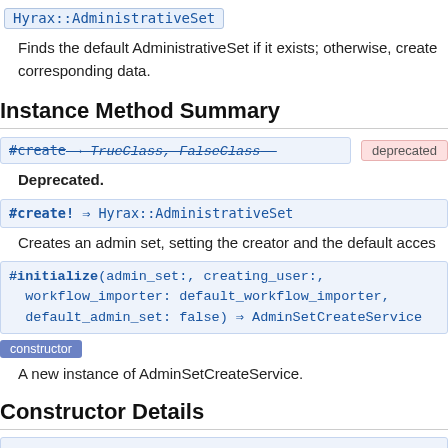Hyrax::AdministrativeSet
Finds the default AdministrativeSet if it exists; otherwise, creates it and all corresponding data.
Instance Method Summary
#create → TrueClass, FalseClass  [deprecated]
Deprecated.
#create! ⇒ Hyrax::AdministrativeSet
Creates an admin set, setting the creator and the default access
#initialize(admin_set:, creating_user:, workflow_importer: default_workflow_importer, default_admin_set: false) ⇒ AdminSetCreateService [constructor]
A new instance of AdminSetCreateService.
Constructor Details
#initialize(admin_set:, creating_user:, ...